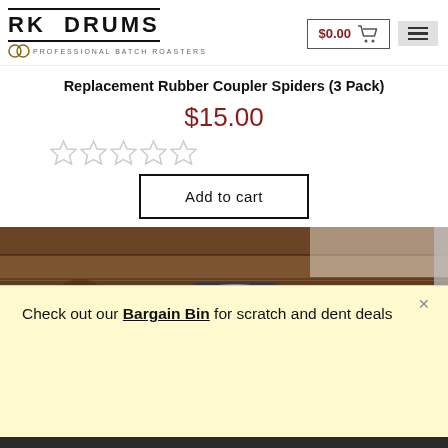RK DRUMS – Professional Batch Roasters | $0.00 cart
Replacement Rubber Coupler Spiders (3 Pack)
$15.00
[Figure (other): 5-star rating widget showing 5 empty/grey stars]
Add to cart
[Figure (photo): Photo of a dark RK DRUMS branded coffee mug on a rustic wooden table surface]
Check out our Bargain Bin for scratch and dent deals